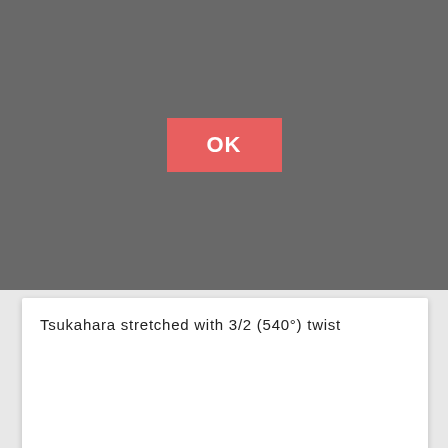[Figure (screenshot): Dark grey overlay panel with a salmon/red OK button centered]
Tsukahara stretched with 3/2 (540°) twist
Akopian
[Figure (illustration): Line drawing illustration of gymnast performing the Akopian vault move, showing multiple sequential positions of the body during the vault]